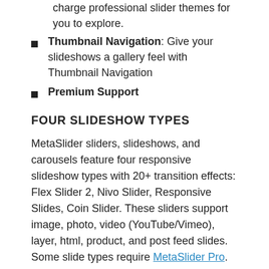charge professional slider themes for you to explore.
Thumbnail Navigation: Give your slideshows a gallery feel with Thumbnail Navigation
Premium Support
FOUR SLIDESHOW TYPES
MetaSlider sliders, slideshows, and carousels feature four responsive slideshow types with 20+ transition effects: Flex Slider 2, Nivo Slider, Responsive Slides, Coin Slider. These sliders support image, photo, video (YouTube/Vimeo), layer, html, product, and post feed slides. Some slide types require MetaSlider Pro.
NEW PHOTO GALLERY EXPERIENCE
MetaSlider now features a new gallery experience